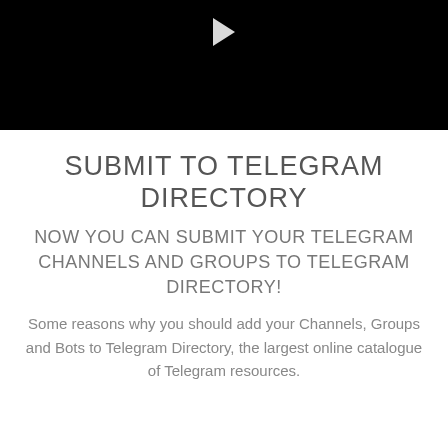[Figure (other): Black video player thumbnail with a white play button triangle at the top center]
SUBMIT TO TELEGRAM DIRECTORY
NOW YOU CAN SUBMIT YOUR TELEGRAM CHANNELS AND GROUPS TO TELEGRAM DIRECTORY!
Some reasons why you should add your Channels, Groups and Bots to Telegram Directory, the largest online catalogue of Telegram resources.